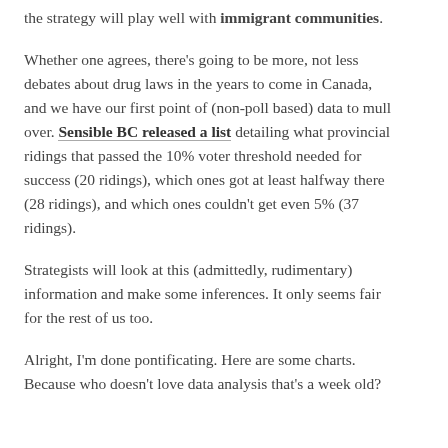the strategy will play well with immigrant communities.
Whether one agrees, there's going to be more, not less debates about drug laws in the years to come in Canada, and we have our first point of (non-poll based) data to mull over. Sensible BC released a list detailing what provincial ridings that passed the 10% voter threshold needed for success (20 ridings), which ones got at least halfway there (28 ridings), and which ones couldn't get even 5% (37 ridings).
Strategists will look at this (admittedly, rudimentary) information and make some inferences. It only seems fair for the rest of us too.
Alright, I'm done pontificating. Here are some charts. Because who doesn't love data analysis that's a week old?